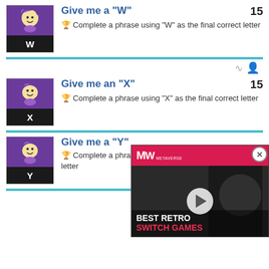Give me a "W" — 15 — Complete a phrase using "W" as the final correct letter
Give me an "X" — 15 — Complete a phrase using "X" as the final correct letter
Give me a "Y" — Complete a phrase using "Y" as the final correct letter
[Figure (screenshot): Ad overlay for Best Retro Switch Games video with MW logo, play button, and close X button]